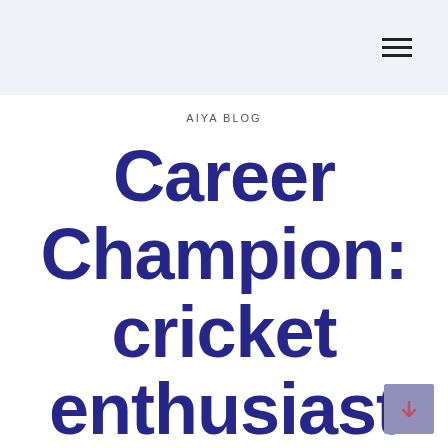AIYA BLOG
Career Champion: cricket enthusiast Bruce